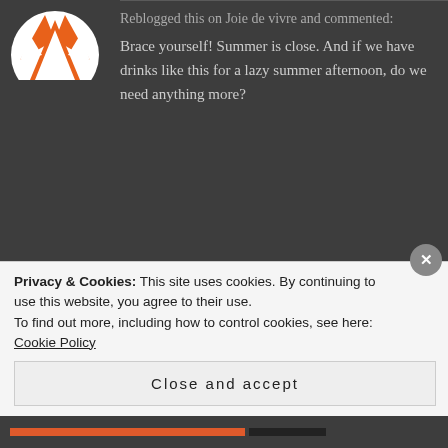[Figure (illustration): Partial avatar icon at top left, showing a fox/animal logo in orange and white colors]
Reblogged this on Joie de vivre and commented:
Brace yourself! Summer is close. And if we have drinks like this for a lazy summer afternoon, do we need anything more?
★ Liked by 1 person
[Figure (illustration): Avatar of user SKD showing a cartoon face with yellow skin and dark hair]
SKD says:
↩ Reply
Privacy & Cookies: This site uses cookies. By continuing to use this website, you agree to their use.
To find out more, including how to control cookies, see here: Cookie Policy
Close and accept